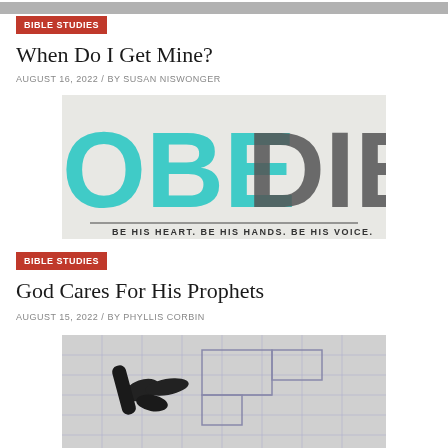[Figure (photo): Top cropped image strip at the very top of page]
BIBLE STUDIES
When Do I Get Mine?
AUGUST 16, 2022 / BY SUSAN NISWONGER
[Figure (photo): Image of text reading OBEDIENT with subtitle BE HIS HEART. BE HIS HANDS. BE HIS VOICE.]
BIBLE STUDIES
God Cares For His Prophets
AUGUST 15, 2022 / BY PHYLLIS CORBIN
[Figure (photo): Black and white image of a hand pointing at blueprints/architectural plans]